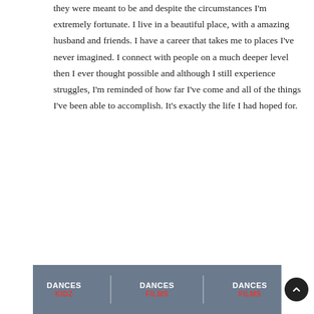they were meant to be and despite the circumstances I'm extremely fortunate. I live in a beautiful place, with a amazing husband and friends. I have a career that takes me to places I've never imagined. I connect with people on a much deeper level then I ever thought possible and although I still experience struggles, I'm reminded of how far I've come and all of the things I've been able to accomplish. It's exactly the life I had hoped for.
[Figure (photo): A banner or step-and-repeat backdrop featuring 'DANCES' logos repeated three times with red accent text, shown at the bottom of the page]